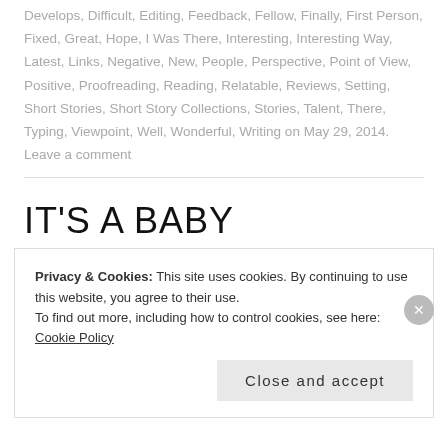Develops, Difficult, Editing, Feedback, Fellow, Finally, First Person, Fixed, Great, Hope, I Was There, Interesting, Interesting Way, Latest, Links, Negative, New, People, Perspective, Point of View, Positive, Proofreading, Reading, Relatable, Reviews, Setting, Short Stories, Short Story Collections, Stories, Talent, There, Typing, Viewpoint, Well, Wonderful, Writing on May 29, 2014. Leave a comment
IT'S A BABY
Privacy & Cookies: This site uses cookies. By continuing to use this website, you agree to their use.
To find out more, including how to control cookies, see here: Cookie Policy
Close and accept